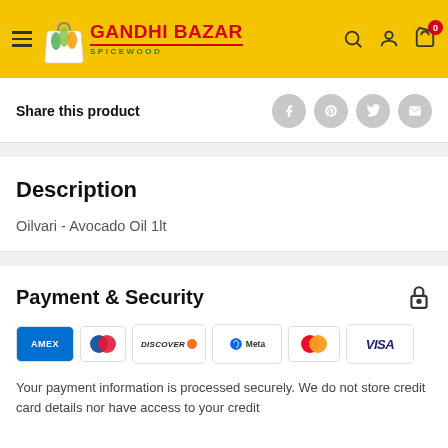Gandhi Bazar Spicewood
Share this product
Description
Oilvari - Avocado Oil 1lt
Payment & Security
[Figure (logo): Payment method logos: AMEX, Diners Club, Discover, Meta Pay, Mastercard, Visa]
Your payment information is processed securely. We do not store credit card details nor have access to your credit